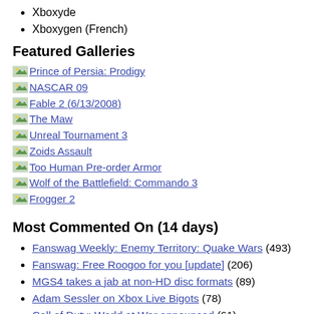Xboxyde
Xboxygen (French)
Featured Galleries
Prince of Persia: Prodigy
NASCAR 09
Fable 2 (6/13/2008)
The Maw
Unreal Tournament 3
Zoids Assault
Too Human Pre-order Armor
Wolf of the Battlefield: Commando 3
Frogger 2
Most Commented On (14 days)
Fanswag Weekly: Enemy Territory: Quake Wars (493)
Fanswag: Free Roogoo for you [update] (206)
MGS4 takes a jab at non-HD disc formats (89)
Adam Sessler on Xbox Live Bigots (78)
Call of Duty: World at War announced (61)